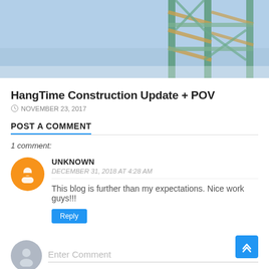[Figure (photo): Aerial/ground view of a construction crane or tower structure against a light blue sky]
HangTime Construction Update + POV
NOVEMBER 23, 2017
POST A COMMENT
1 comment:
UNKNOWN
DECEMBER 31, 2018 AT 4:28 AM
This blog is further than my expectations. Nice work guys!!!
Reply
Enter Comment